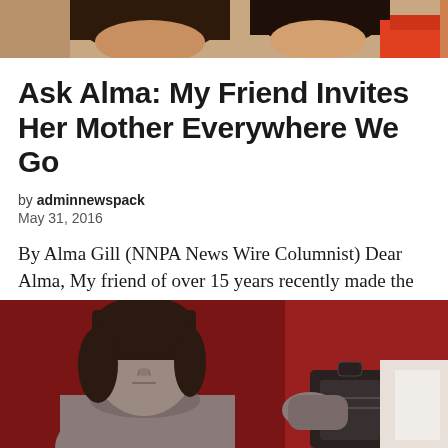[Figure (photo): Top portion of a photo showing two women, partially cropped at the top of the page. Hair and partial faces visible.]
Ask Alma: My Friend Invites Her Mother Everywhere We Go
by adminnewspack
May 31, 2016
By Alma Gill (NNPA News Wire Columnist) Dear Alma, My friend of over 15 years recently made the decision it was time for her and her mother to live together [...]
[Figure (illustration): Illustration showing a stylized figure of a woman with closed eyes and somber expression, dark hair, gray tones, set against a dark red/maroon background. Partial view of another figure or object on the right side.]